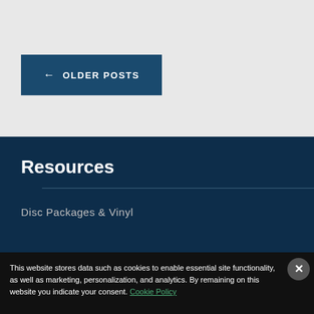← OLDER POSTS
Resources
Disc Packages & Vinyl
This website stores data such as cookies to enable essential site functionality, as well as marketing, personalization, and analytics. By remaining on this website you indicate your consent. Cookie Policy